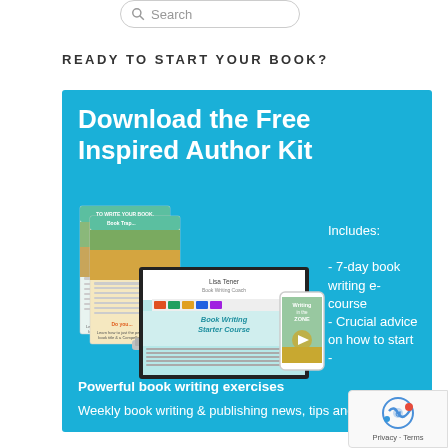[Figure (screenshot): Search bar with magnifying glass icon and placeholder text 'Search']
READY TO START YOUR BOOK?
[Figure (infographic): Blue promotional banner for 'Download the Free Inspired Author Kit' showing images of book writing materials, a laptop with Book Writing Starter Course, a mobile phone with Writing in the Zone, and text listing: Includes: - 7-day book writing e-course - Crucial advice on how to start -. Bottom text: Powerful book writing exercises, Weekly book writing & publishing news, tips and]
[Figure (logo): reCAPTCHA badge with Google reCAPTCHA logo and Privacy - Terms text]